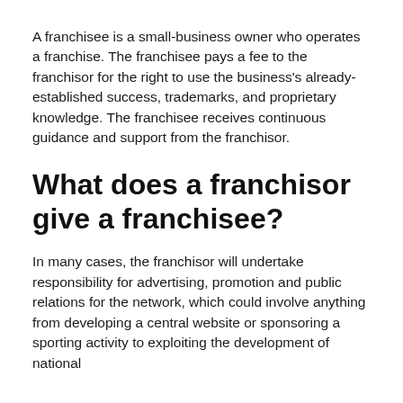A franchisee is a small-business owner who operates a franchise. The franchisee pays a fee to the franchisor for the right to use the business's already-established success, trademarks, and proprietary knowledge. The franchisee receives continuous guidance and support from the franchisor.
What does a franchisor give a franchisee?
In many cases, the franchisor will undertake responsibility for advertising, promotion and public relations for the network, which could involve anything from developing a central website or sponsoring a sporting activity to exploiting the development of national